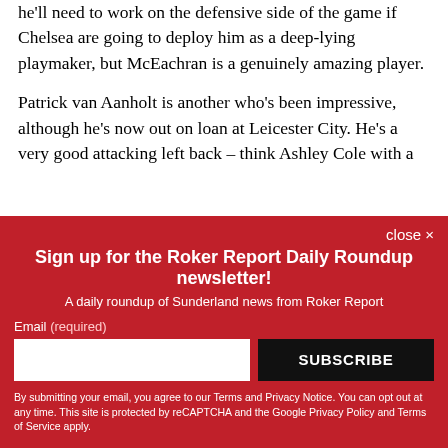he'll need to work on the defensive side of the game if Chelsea are going to deploy him as a deep-lying playmaker, but McEachran is a genuinely amazing player.
Patrick van Aanholt is another who's been impressive, although he's now out on loan at Leicester City. He's a very good attacking left back – think Ashley Cole with a
close ×
Sign up for the Roker Report Daily Roundup newsletter!
A daily roundup of Sunderland news from Roker Report
Email (required)
SUBSCRIBE
By submitting your email, you agree to our Terms and Privacy Notice. You can opt out at any time. This site is protected by reCAPTCHA and the Google Privacy Policy and Terms of Service apply.